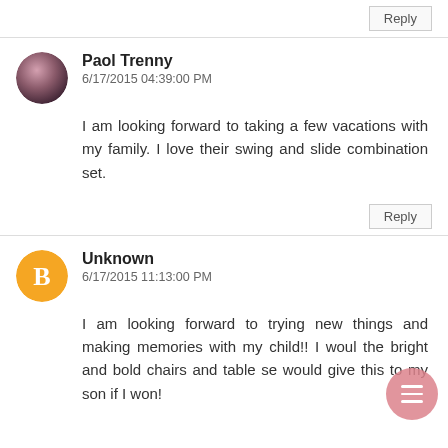Reply
Paol Trenny
6/17/2015 04:39:00 PM
I am looking forward to taking a few vacations with my family. I love their swing and slide combination set.
Reply
Unknown
6/17/2015 11:13:00 PM
I am looking forward to trying new things and making memories with my child!! I would the bright and bold chairs and table se would give this to my son if I won!